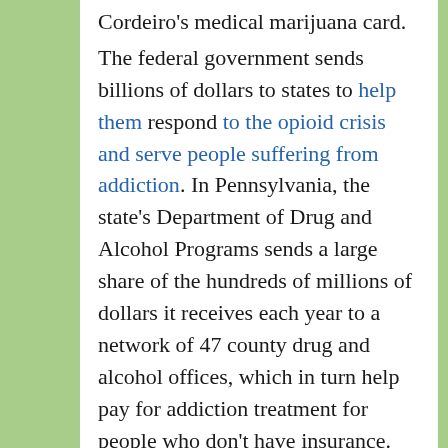Cordeiro's medical marijuana card. The federal government sends billions of dollars to states to help them respond to the opioid crisis and serve people suffering from addiction. In Pennsylvania, the state's Department of Drug and Alcohol Programs sends a large share of the hundreds of millions of dollars it receives each year to a network of 47 county drug and alcohol offices, which in turn help pay for addiction treatment for people who don't have insurance.
...